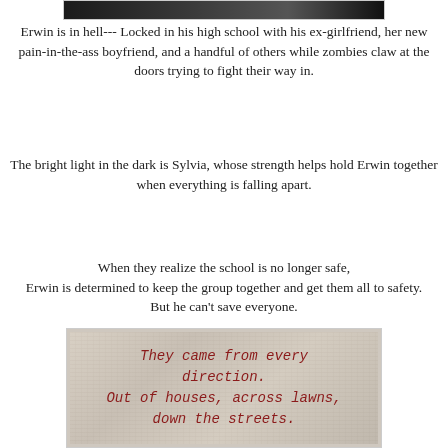[Figure (photo): Top portion of a photo showing dark tones, partially cropped at the top of the page]
Erwin is in hell--- Locked in his high school with his ex-girlfriend, her new pain-in-the-ass boyfriend, and a handful of others while zombies claw at the doors trying to fight their way in.
The bright light in the dark is Sylvia, whose strength helps hold Erwin together when everything is falling apart.
When they realize the school is no longer safe, Erwin is determined to keep the group together and get them all to safety. But he can't save everyone.
[Figure (photo): Image with distressed paper texture background containing red typewriter-font text reading: They came from every direction. Out of houses, across lawns, down the streets.]